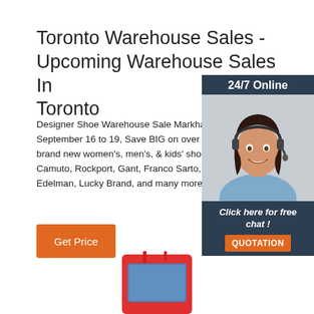Toronto Warehouse Sales - Upcoming Warehouse Sales In Toronto
Designer Shoe Warehouse Sale Markham 202... September 16 to 19, Save BIG on over 30,000 brand new women's, men's, & kids' shoes. Bra... Camuto, Rockport, Gant, Franco Sarto, Natura... Edelman, Lucky Brand, and many more.
[Figure (infographic): Orange 'Get Price' button]
[Figure (photo): Side widget showing '24/7 Online' header, photo of woman with headset smiling, 'Click here for free chat!' text, and orange QUOTATION button on dark navy background]
[Figure (photo): Partial product image at bottom center - appears to be a red electronic device]